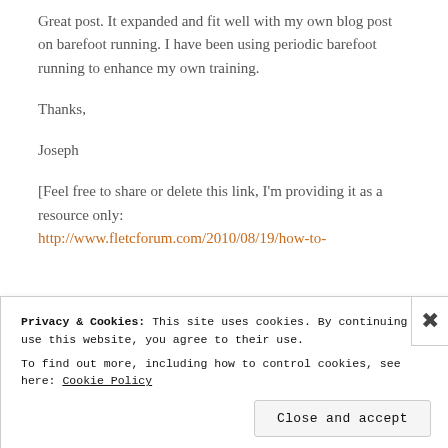Great post. It expanded and fit well with my own blog post on barefoot running. I have been using periodic barefoot running to enhance my own training.
Thanks,
Joseph
[Feel free to share or delete this link, I'm providing it as a resource only: http://www.fletcforum.com/2010/08/19/how-to-
Privacy & Cookies: This site uses cookies. By continuing to use this website, you agree to their use.
To find out more, including how to control cookies, see here: Cookie Policy
Close and accept